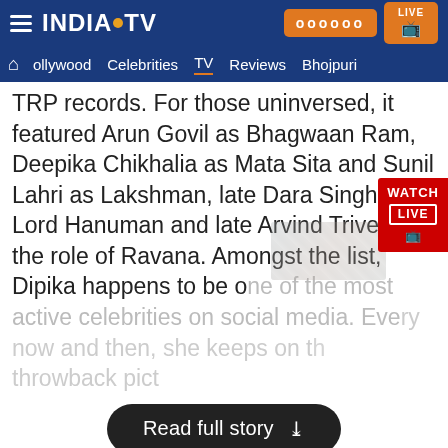India TV - hamburger menu, logo, Hindi button, LIVE button
Home | Bollywood | Celebrities | TV | Reviews | Bhojpuri
TRP records. For those uninversed, it featured Arun Govil as Bhagwaan Ram, Deepika Chikhalia as Mata Sita and Sunil Lahri as Lakshman, late Dara Singh as Lord Hanuman and late Arvind Trivedi in the role of Ravana. Amongst the list, Dipika happens to be one of the most active celebrities on social media. Every now and then, she keeps on throwback pict
[Figure (screenshot): Read full story button overlay - dark rounded rectangle with text 'Read full story' and chevron down icon]
[Figure (photo): Bottom promotional banner for India TV with anchor person silhouette and Hindi text 'हर खबर का पूरा सच,']